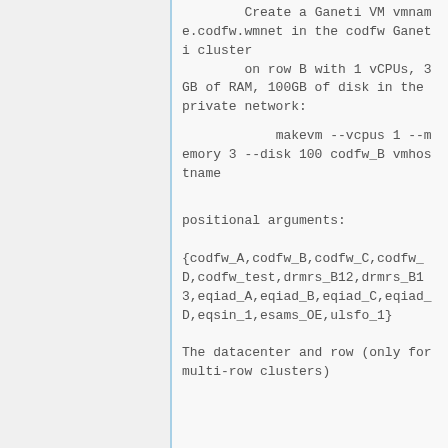Create a Ganeti VM vmname.codfw.wmnet in the codfw Ganeti cluster
        on row B with 1 vCPUs, 3GB of RAM, 100GB of disk in the private network:
makevm --vcpus 1 --memory 3 --disk 100 codfw_B vmhostname
positional arguments:
{codfw_A,codfw_B,codfw_C,codfw_D,codfw_test,drmrs_B12,drmrs_B13,eqiad_A,eqiad_B,eqiad_C,eqiad_D,eqsin_1,esams_OE,ulsfo_1}
The datacenter and row (only for multi-row clusters)